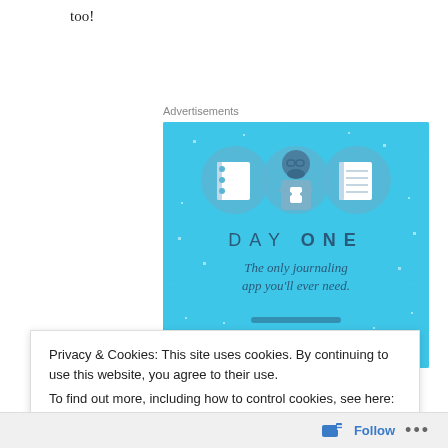too!
Advertisements
[Figure (illustration): Day One journaling app advertisement on blue background. Shows three circular icons (blank notebook, person holding phone, lined notebook) above the text 'DAY ONE' and 'The only journaling app you'll ever need.']
Privacy & Cookies: This site uses cookies. By continuing to use this website, you agree to their use.
To find out more, including how to control cookies, see here: Cookie Policy
Close and accept
Follow